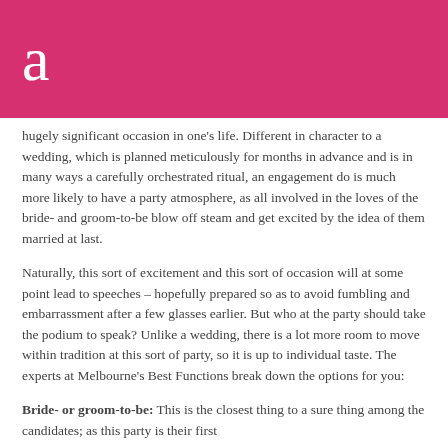a
hugely significant occasion in one's life. Different in character to a wedding, which is planned meticulously for months in advance and is in many ways a carefully orchestrated ritual, an engagement do is much more likely to have a party atmosphere, as all involved in the loves of the bride- and groom-to-be blow off steam and get excited by the idea of them married at last.
Naturally, this sort of excitement and this sort of occasion will at some point lead to speeches – hopefully prepared so as to avoid fumbling and embarrassment after a few glasses earlier. But who at the party should take the podium to speak? Unlike a wedding, there is a lot more room to move within tradition at this sort of party, so it is up to individual taste. The experts at Melbourne's Best Functions break down the options for you:
Bride- or groom-to-be: This is the closest thing to a sure thing among the candidates; as this party is their first...